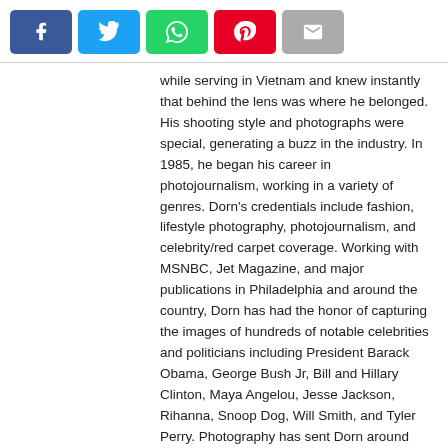[Figure (other): Social media share buttons: Facebook (blue), Twitter (light blue), WhatsApp (green), Pinterest (red), Email (grey)]
while serving in Vietnam and knew instantly that behind the lens was where he belonged. His shooting style and photographs were special, generating a buzz in the industry. In 1985, he began his career in photojournalism, working in a variety of genres. Dorn's credentials include fashion, lifestyle photography, photojournalism, and celebrity/red carpet coverage. Working with MSNBC, Jet Magazine, and major publications in Philadelphia and around the country, Dorn has had the honor of capturing the images of hundreds of notable celebrities and politicians including President Barack Obama, George Bush Jr, Bill and Hillary Clinton, Maya Angelou, Jesse Jackson, Rihanna, Snoop Dog, Will Smith, and Tyler Perry. Photography has sent Dorn around the globe, inspiring his passion for civil activism. In 1995, Dorn assembled and led a group of forty-two men to the Million Man March.